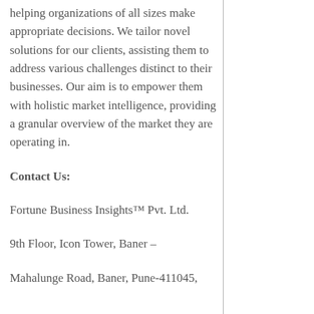helping organizations of all sizes make appropriate decisions. We tailor novel solutions for our clients, assisting them to address various challenges distinct to their businesses. Our aim is to empower them with holistic market intelligence, providing a granular overview of the market they are operating in.
Contact Us:
Fortune Business Insights™ Pvt. Ltd.
9th Floor, Icon Tower, Baner –
Mahalunge Road, Baner, Pune-411045,